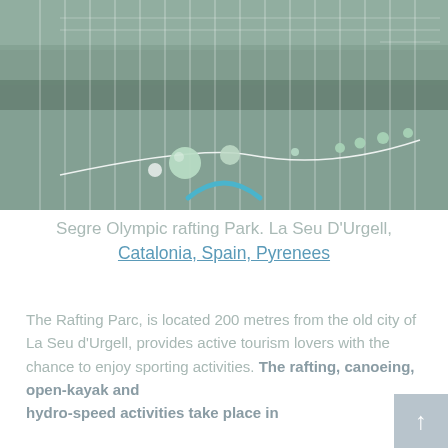[Figure (photo): A water channel or river scene with vertical grid lines overlaid and green spherical buoys/floats on a rope/line across the water. A teal arc (loading spinner) appears at the bottom center of the image.]
Segre Olympic rafting Park. La Seu D'Urgell, Catalonia, Spain, Pyrenees
The Rafting Parc, is located 200 metres from the old city of La Seu d'Urgell, provides active tourism lovers with the chance to enjoy sporting activities. The rafting, canoeing, open-kayak and hydro-speed activities take place in...